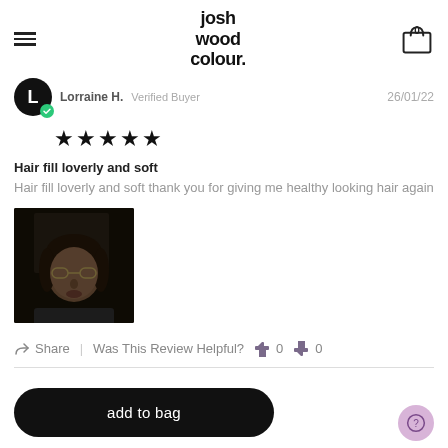josh wood colour — nav header with cart
Lorraine H. Verified Buyer 26/01/22
[Figure (other): Five black star rating]
Hair fill loverly and soft
Hair fill loverly and soft thank you for giving me healthy looking hair again
[Figure (photo): Photo of reviewer - a person with glasses looking at camera in a dark room]
Share | Was This Review Helpful? 0 0
add to bag